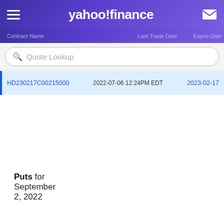yahoo! finance
| Contract Name | Last Trade Date | Expire Date |
| --- | --- | --- |
| HD230217C00215000 | 2022-07-06 12:24PM EDT | 2023-02-17 |
Puts for September 2, 2022